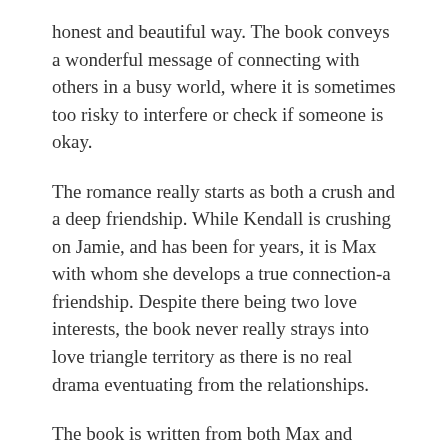honest and beautiful way. The book conveys a wonderful message of connecting with others in a busy world, where it is sometimes too risky to interfere or check if someone is okay.
The romance really starts as both a crush and a deep friendship. While Kendall is crushing on Jamie, and has been for years, it is Max with whom she develops a true connection-a friendship. Despite there being two love interests, the book never really strays into love triangle territory as there is no real drama eventuating from the relationships.
The book is written from both Max and Kendall's perspectives, in alternating chapters. But what really makes this book special are the short sections written from the perspectives of each of the people Max and Kendall stop to help. These little sections are so incredibly powerful and bring such depth to the story.